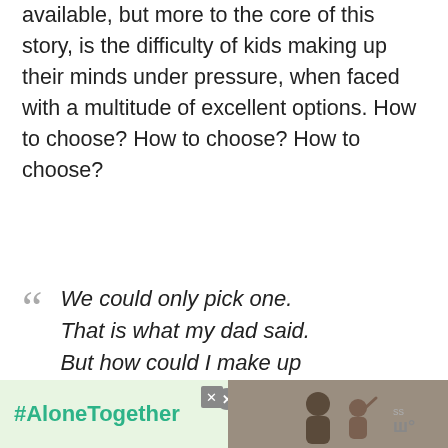available, but more to the core of this story, is the difficulty of kids making up their minds under pressure, when faced with a multitude of excellent options. How to choose? How to choose? How to choose?
We could only pick one. That is what my dad said. But how could I make up that mind in my head?
The story finishes with the kids successfully deciding on a pet, but they don't tell the reader their decision. You need to guess! My kids aren used to stories that leave them hanging, and this
[Figure (photo): Advertisement banner at bottom with #AloneTogether hashtag in green text on light green background, photo of father and child on right side, with close button]